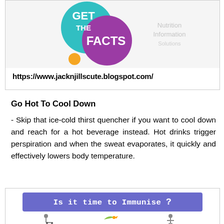[Figure (illustration): Colorful bubble graphic with 'GET THE FACTS' text and partial watermark text, inside a bordered box]
https://www.jacknjillscute.blogspot.com/
Go Hot To Cool Down
- Skip that ice-cold thirst quencher if you want to cool down and reach for a hot beverage instead. Hot drinks trigger perspiration and when the sweat evaporates, it quickly and effectively lowers body temperature.
[Figure (infographic): Blue/purple banner reading 'Is it time to Immunise ?' with small cartoon figures below including a person with a baby stroller, a bird/duck flying, and another small figure]